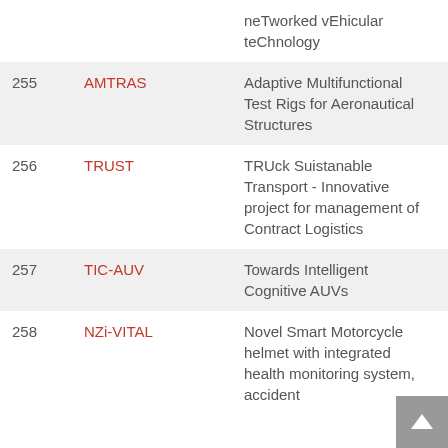| No. | Acronym | Full Title |  |
| --- | --- | --- | --- |
|  |  | neTworked vEhicular teChnology |  |
| 255 | AMTRAS | Adaptive Multifunctional Test Rigs for Aeronautical Structures |  |
| 256 | TRUST | TRUck Suistanable Transport - Innovative project for management of Contract Logistics |  |
| 257 | TIC-AUV | Towards Intelligent Cognitive AUVs |  |
| 258 | NZi-VITAL | Novel Smart Motorcycle helmet with integrated health monitoring system, accident |  |